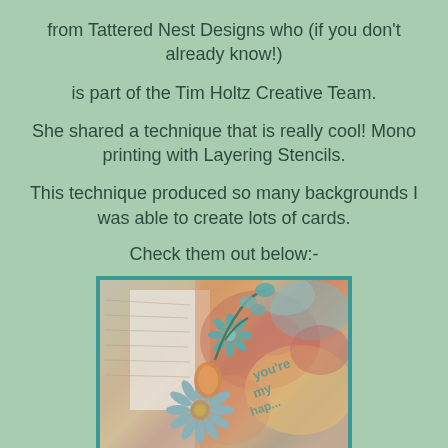from Tattered Nest Designs who (if you don't already know!)
is part of the Tim Holtz Creative Team.
She shared a technique that is really cool! Mono printing with Layering Stencils.
This technique produced so many backgrounds I was able to create lots of cards.
Check them out below:-
[Figure (photo): Close-up photo of a handmade card featuring a colorful mono-printed background with stencil designs in teal, orange, pink and gold tones, decorated with layered die-cut flowers and a 'you're my happy' sentiment in teal.]